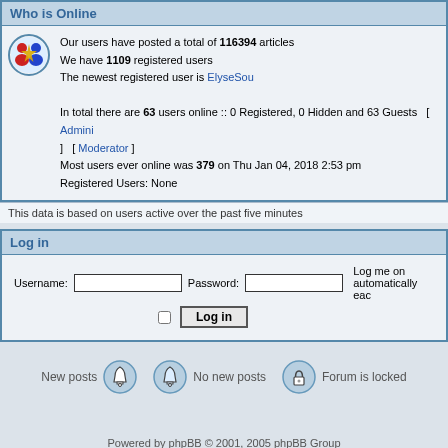Who is Online
Our users have posted a total of 116394 articles
We have 1109 registered users
The newest registered user is ElyseSou
In total there are 63 users online :: 0 Registered, 0 Hidden and 63 Guests  [ Admini ] [ Moderator ]
Most users ever online was 379 on Thu Jan 04, 2018 2:53 pm
Registered Users: None
This data is based on users active over the past five minutes
Log in
Username: [input] Password: [input] Log me on automatically eac [checkbox] Log in
[Figure (infographic): Legend row: New posts (bell icon), No new posts (bell icon with blue circle), Forum is locked (lock icon with blue circle)]
Powered by phpBB © 2001, 2005 phpBB Group
Web hosting by isol.gr